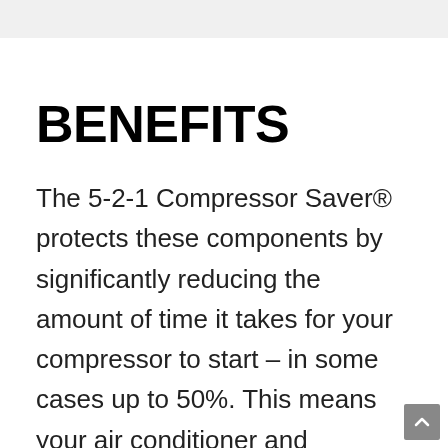BENEFITS
The 5-2-1 Compressor Saver® protects these components by significantly reducing the amount of time it takes for your compressor to start – in some cases up to 50%. This means your air conditioner and compressor will bear – the stress, strain and heat each and every time it starts. So with that on a...